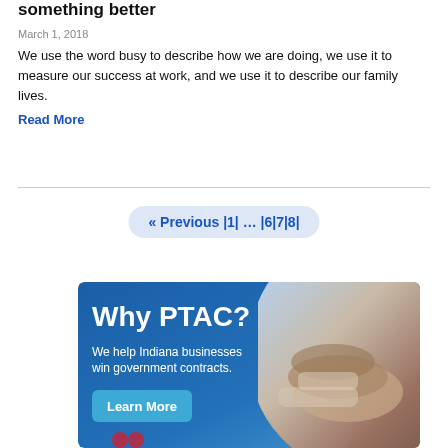something better
March 1, 2018
We use the word busy to describe how we are doing, we use it to measure our success at work, and we use it to describe our family lives.
Read More
« Previous | 1 | … | 6 | 7 | 8 |
[Figure (photo): PTAC advertisement banner showing 'Why PTAC? We help Indiana businesses win government contracts. Learn More' with a handshake photo on a blue background.]